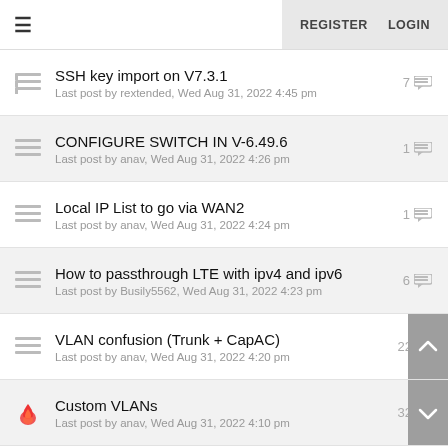REGISTER   LOGIN
SSH key import on V7.3.1
Last post by rextended, Wed Aug 31, 2022 4:45 pm
7
CONFIGURE SWITCH IN V-6.49.6
Last post by anav, Wed Aug 31, 2022 4:26 pm
1
Local IP List to go via WAN2
Last post by anav, Wed Aug 31, 2022 4:24 pm
1
How to passthrough LTE with ipv4 and ipv6
Last post by Busily5562, Wed Aug 31, 2022 4:23 pm
6
VLAN confusion (Trunk + CapAC)
Last post by anav, Wed Aug 31, 2022 4:20 pm
22
Custom VLANs
Last post by anav, Wed Aug 31, 2022 4:10 pm
32